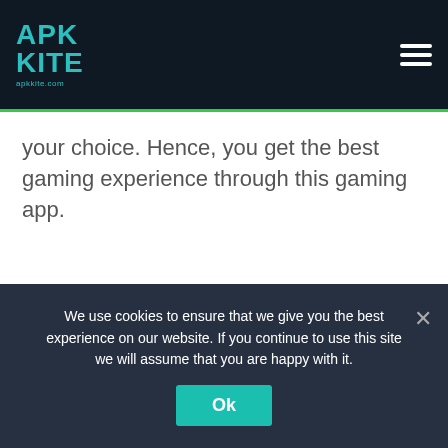APK KITE
your choice. Hence, you get the best gaming experience through this gaming app.
[Figure (other): Gray placeholder/advertisement area]
We use cookies to ensure that we give you the best experience on our website. If you continue to use this site we will assume that you are happy with it.
Ok